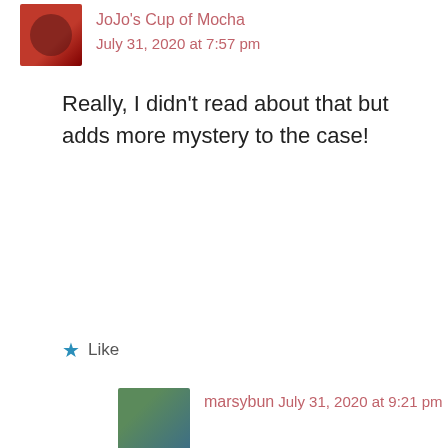JoJo's Cup of Mocha
July 31, 2020 at 7:57 pm
Really, I didn't read about that but adds more mystery to the case!
★ Like
marsybun
July 31, 2020 at 9:21 pm
Advertisements
Teach freely
Make money selling online courses.